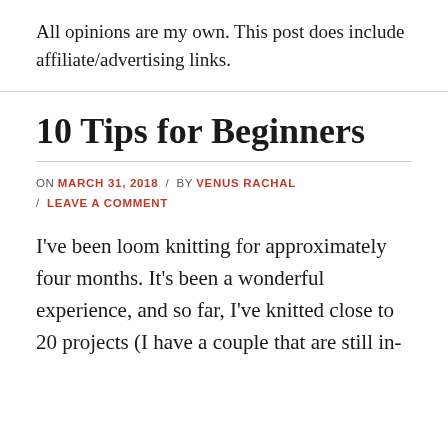All opinions are my own. This post does include affiliate/advertising links.
10 Tips for Beginners
ON MARCH 31, 2018 / BY VENUS RACHAL / LEAVE A COMMENT
I've been loom knitting for approximately four months. It's been a wonderful experience, and so far, I've knitted close to 20 projects (I have a couple that are still in-